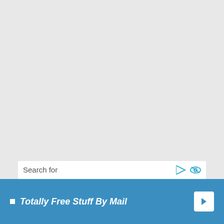Search for
Totally Free Stuff By Mail